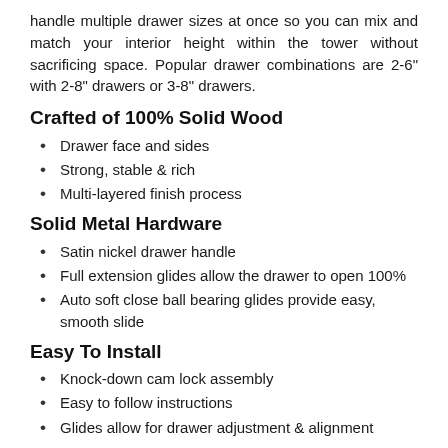handle multiple drawer sizes at once so you can mix and match your interior height within the tower without sacrificing space. Popular drawer combinations are 2-6" with 2-8" drawers or 3-8" drawers.
Crafted of 100% Solid Wood
Drawer face and sides
Strong, stable & rich
Multi-layered finish process
Solid Metal Hardware
Satin nickel drawer handle
Full extension glides allow the drawer to open 100%
Auto soft close ball bearing glides provide easy, smooth slide
Easy To Install
Knock-down cam lock assembly
Easy to follow instructions
Glides allow for drawer adjustment & alignment
Maximize Space
Mix drawer heights together